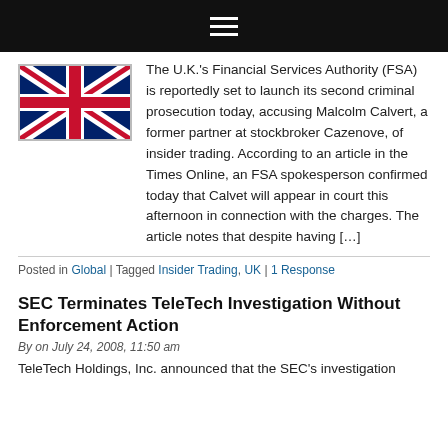Navigation bar with hamburger menu
[Figure (illustration): UK Union Jack flag image]
The U.K.'s Financial Services Authority (FSA) is reportedly set to launch its second criminal prosecution today, accusing Malcolm Calvert, a former partner at stockbroker Cazenove, of insider trading. According to an article in the Times Online, an FSA spokesperson confirmed today that Calvet will appear in court this afternoon in connection with the charges. The article notes that despite having […]
Posted in Global | Tagged Insider Trading, UK | 1 Response
SEC Terminates TeleTech Investigation Without Enforcement Action
By on July 24, 2008, 11:50 am
TeleTech Holdings, Inc. announced that the SEC's investigation